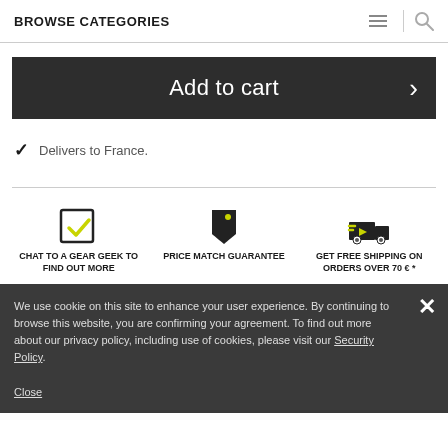BROWSE CATEGORIES
Add to cart
Delivers to France.
[Figure (infographic): Three feature icons: checkmark (Chat to a gear geek to find out more), price tag (Price match guarantee), delivery truck (Get free shipping on orders over 70 € *)]
We use cookie on this site to enhance your user experience. By continuing to browse this website, you are confirming your agreement. To find out more about our privacy policy, including use of cookies, please visit our Security Policy.
Close